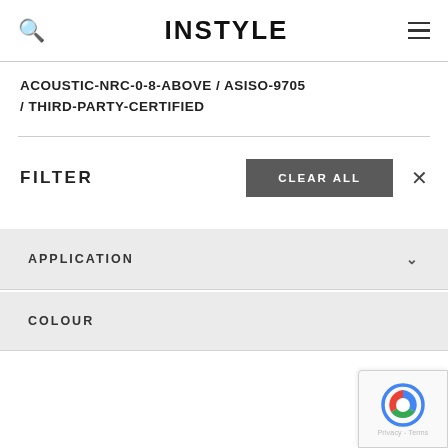INSTYLE
ACOUSTIC-NRC-0-8-ABOVE / ASISO-9705 / THIRD-PARTY-CERTIFIED
FILTER
CLEAR ALL
APPLICATION
COLOUR